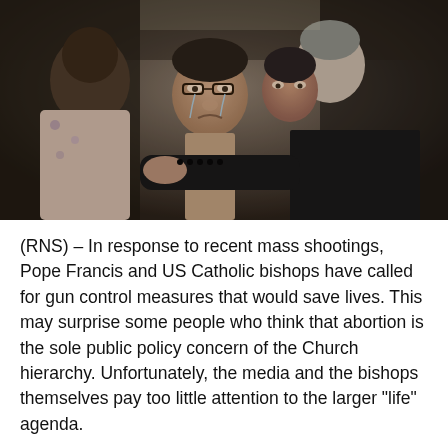[Figure (photo): Photo of people grieving, two women crying being comforted by a man in a dark suit jacket, outdoors setting]
(RNS) – In response to recent mass shootings, Pope Francis and US Catholic bishops have called for gun control measures that would save lives. This may surprise some people who think that abortion is the sole public policy concern of the Church hierarchy. Unfortunately, the media and the bishops themselves pay too little attention to the larger “life” agenda.
While praying for the children killed and their families in Uvalde, the Pope did not hesitate to say: “It is time to say enough about